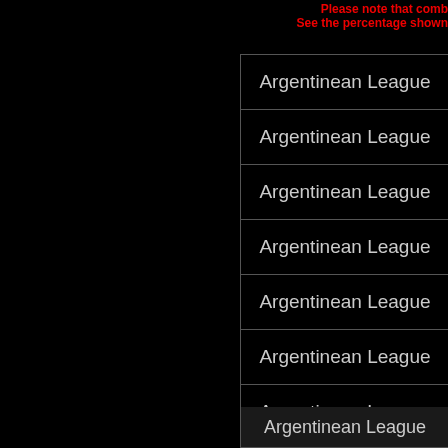Please note that comb... See the percentage shown...
| League |
| --- |
| Argentinean League |
| Argentinean League |
| Argentinean League |
| Argentinean League |
| Argentinean League |
| Argentinean League |
| Argentinean League |
| Argentinean League |
| Argentinean League |
| North &... |
| a... |
| Argentinean League |
This website uses cookies to ensure you get the best experience on our website. Learn more Got it!